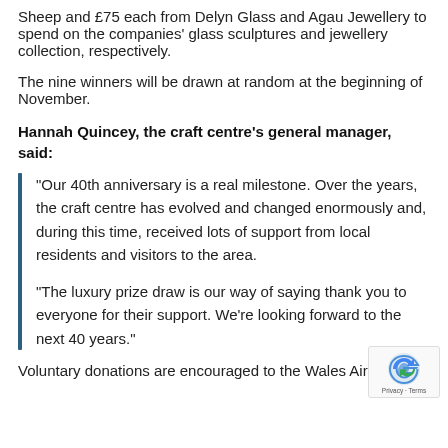Sheep and £75 each from Delyn Glass and Agau Jewellery to spend on the companies' glass sculptures and jewellery collection, respectively.
The nine winners will be drawn at random at the beginning of November.
Hannah Quincey, the craft centre's general manager, said:
“Our 40th anniversary is a real milestone. Over the years, the craft centre has evolved and changed enormously and, during this time, received lots of support from local residents and visitors to the area.
“The luxury prize draw is our way of saying thank you to everyone for their support. We’re looking forward to the next 40 years.”
Voluntary donations are encouraged to the Wales Air